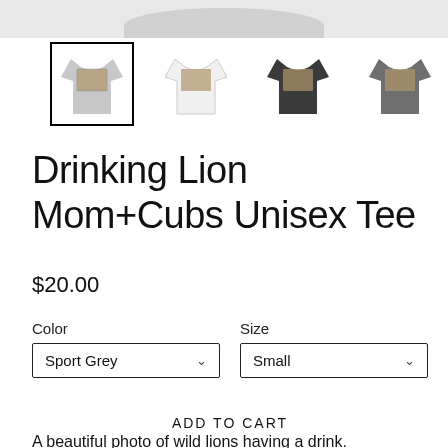[Figure (photo): Top portion of a sport grey t-shirt product photo, cropped at the collar area showing the grey fabric]
[Figure (photo): Row of four t-shirt thumbnail images: sport grey (selected, with black border), white, dark grey/charcoal, and medium grey — each showing the same lion print on the chest]
Drinking Lion Mom+Cubs Unisex Tee
$20.00
Color
Sport Grey
Size
Small
ADD TO CART
A beautiful photo of wild lions having a drink.